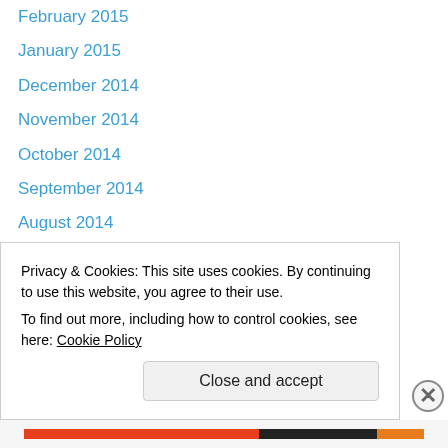February 2015
January 2015
December 2014
November 2014
October 2014
September 2014
August 2014
June 2014
May 2014
April 2014
March 2014
February 2014
January 2014
December 2013
Privacy & Cookies: This site uses cookies. By continuing to use this website, you agree to their use. To find out more, including how to control cookies, see here: Cookie Policy
Close and accept